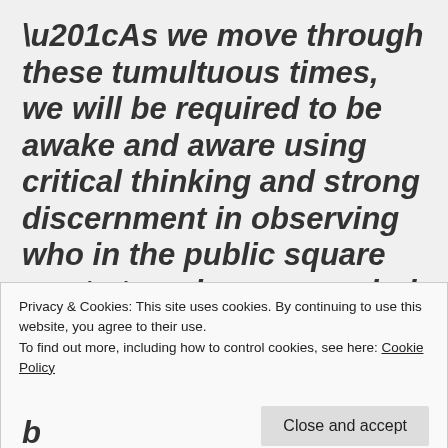“As we move through these tumultuous times, we will be required to be awake and aware using critical thinking and strong discernment in observing who in the public square wants to poison your mind against others. These are the classic divide and conquer tactics to
Privacy & Cookies: This site uses cookies. By continuing to use this website, you agree to their use.
To find out more, including how to control cookies, see here: Cookie Policy
Close and accept
(partial continuation of quote)